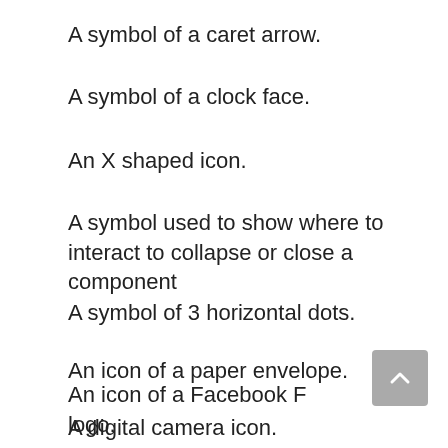A symbol of a caret arrow.
A symbol of a clock face.
An X shaped icon.
A symbol used to show where to interact to collapse or close a component
A symbol of 3 horizontal dots.
An icon of a paper envelope.
An icon of a Facebook F logo.
A digital camera icon.